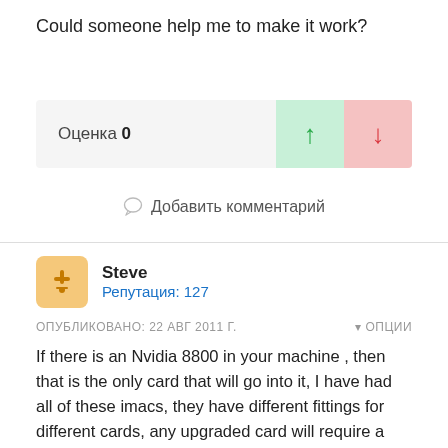Could someone help me to make it work?
| Оценка 0 | ▲ | ▼ |
| --- | --- | --- |
💬 Добавить комментарий
Steve
Репутация: 127
ОПУБЛИКОВАНО: 22 АВГ 2011 Г.    ▾ ОПЦИИ
If there is an Nvidia 8800 in your machine , then that is the only card that will go into it, I have had all of these imacs, they have different fittings for different cards, any upgraded card will require a flash with the relevent EFi, it may be a wise idea to check the size of the bios on the